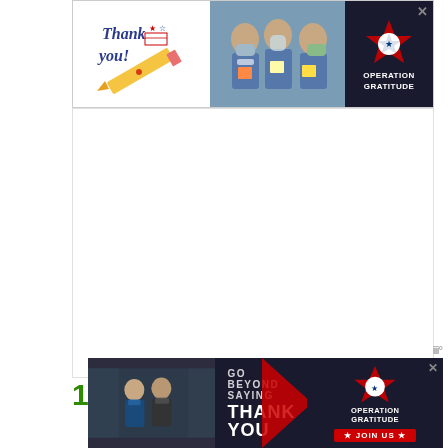[Figure (photo): Operation Gratitude advertisement banner at top: Thank You note with pencil/flag graphic, healthcare workers in masks, and Operation Gratitude star logo on dark background. Close X button in top right corner.]
[Figure (photo): Large white blank area (advertisement placeholder) in the center of the page.]
iii°
1. Choose A Planting Site
[Figure (photo): Operation Gratitude advertisement banner at bottom: dark background with people talking on left, 'GO BEYOND SAYING THANK YOU' text in center, red arrow graphic, Operation Gratitude star logo and 'JOIN US' red button on right. Close X button in top right corner.]
iii°